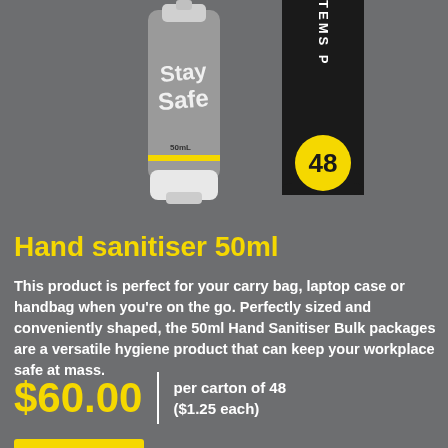[Figure (photo): Hand sanitiser 50ml bottle (Stay Safe branded, grey with yellow accent) and a black banner badge showing '48 ITEMS P' with a yellow circle containing '48']
Hand sanitiser 50ml
This product is perfect for your carry bag, laptop case or handbag when you're on the go. Perfectly sized and conveniently shaped, the 50ml Hand Sanitiser Bulk packages are a versatile hygiene product that can keep your workplace safe at mass.
$60.00 | per carton of 48 ($1.25 each)